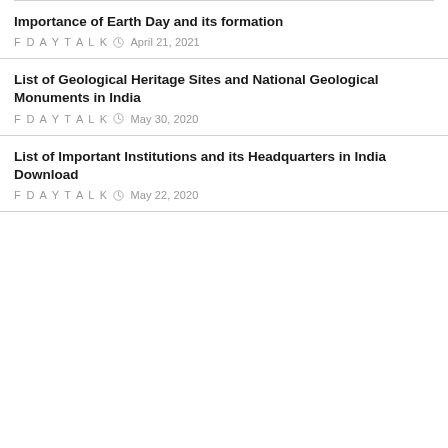Importance of Earth Day and its formation
FDAYTALK  April 21, 2021
List of Geological Heritage Sites and National Geological Monuments in India
FDAYTALK  May 30, 2020
List of Important Institutions and its Headquarters in India Download
FDAYTALK  May 22, 2020